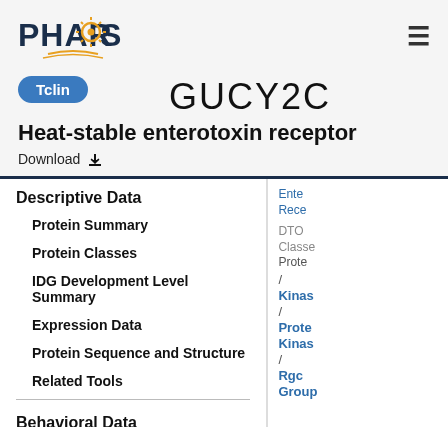PHAROS
GUCY2C
Tclin
Heat-stable enterotoxin receptor
Download
Descriptive Data
Protein Summary
Protein Classes
IDG Development Level Summary
Expression Data
Protein Sequence and Structure
Related Tools
Behavioral Data
Approved Drugs
Ente
Rece
DTO
Classe
Prote
/
Kinas
/
Prote
Kinas
/
Rgc
Group